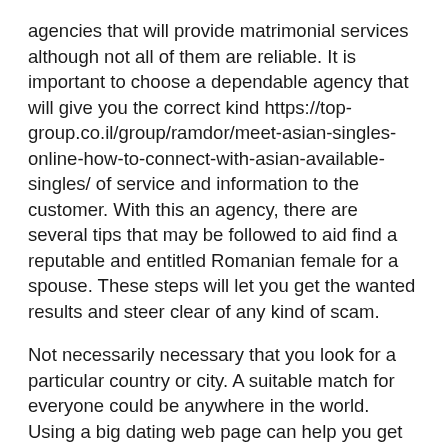agencies that will provide matrimonial services although not all of them are reliable. It is important to choose a dependable agency that will give you the correct kind https://top-group.co.il/group/ramdor/meet-asian-singles-online-how-to-connect-with-asian-available-singles/ of service and information to the customer. With this an agency, there are several tips that may be followed to aid find a reputable and entitled Romanian female for a spouse. These steps will let you get the wanted results and steer clear of any kind of scam.
Not necessarily necessary that you look for a particular country or city. A suitable match for everyone could be anywhere in the world. Using a big dating web page can help you get many possible matches plus the agency will help you choose the best types. However , by using a big internet site will increase the possibilities of actually finding a specific region or town. There are people who believe that it is much easier to find a Russian bride by a smaller organization. The smaller kinds can be located from the internet and quite a few often they are quite hard to locate and quite a few